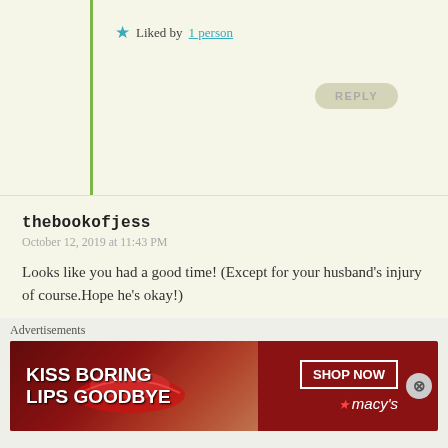★ Liked by 1 person
REPLY
thebookofjess
October 12, 2019 at 11:43 PM
Looks like you had a good time! (Except for your husband's injury of course.Hope he's okay!)
★ Liked by 1 person
REPLY
indianeskitchen
October 14, 2019 at 7:20 PM
We had a blast and he's OK just his ego was hurt...lol
Advertisements
[Figure (other): Macy's lip product advertisement banner: KISS BORING LIPS GOODBYE with SHOP NOW button and Macy's logo]